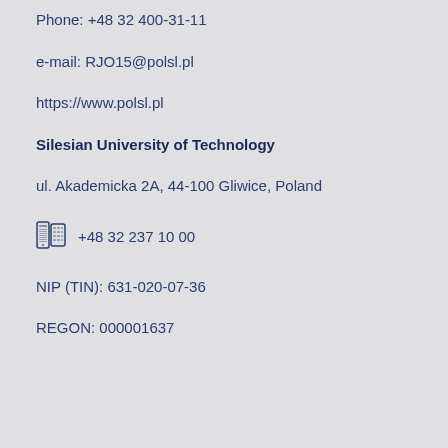Phone: +48 32 400-31-11
e-mail: RJO15@polsl.pl
https://www.polsl.pl
Silesian University of Technology
ul. Akademicka 2A, 44-100 Gliwice, Poland
+48 32 237 10 00
NIP (TIN): 631-020-07-36
REGON: 000001637